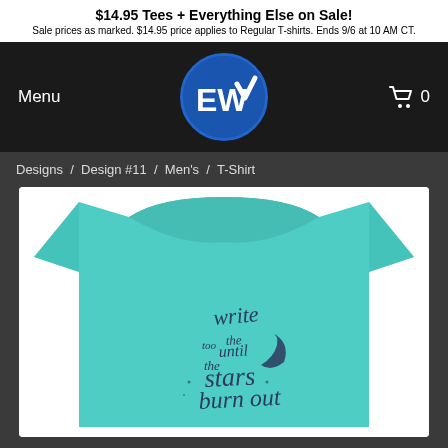$14.95 Tees + Everything Else on Sale! Sale prices as marked. $14.95 price applies to Regular T-shirts. Ends 9/6 at 10 AM CT.
[Figure (logo): EW logo circle with blue background and white checkmark, navigation bar with Menu text and shopping cart icon]
Designs / Design #11 / Men's / T-Shirt
[Figure (photo): Teal/mint colored t-shirt with cursive text design reading 'write the until the stars burn out' with a crescent moon graphic]